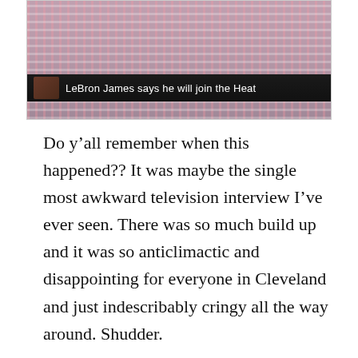[Figure (screenshot): TV screenshot showing LeBron James in a pink/white striped shirt with a dark ticker bar at the bottom reading 'LeBron James says he will join the Heat' alongside a small thumbnail image]
Do y’all remember when this happened?? It was maybe the single most awkward television interview I’ve ever seen. There was so much build up and it was so anticlimactic and disappointing for everyone in Cleveland and just indescribably cringy all the way around. Shudder.
So, obv I want to duplicate that in my own life.
Unfortunately for all of you lovely people, I could neither secure a television deal nor a Boys and Girls Club of America from which to film said tv special, so